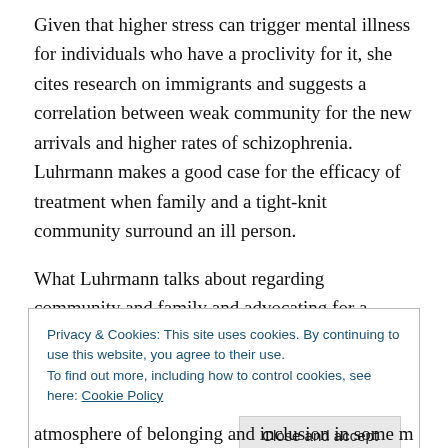Given that higher stress can trigger mental illness for individuals who have a proclivity for it, she cites research on immigrants and suggests a correlation between weak community for the new arrivals and higher rates of schizophrenia. Luhrmann makes a good case for the efficacy of treatment when family and a tight-knit community surround an ill person.
What Luhrmann talks about regarding community and family and advocating for a loved one with mental illness is what we learned from the parents we interviewed.
Privacy & Cookies: This site uses cookies. By continuing to use this website, you agree to their use.
To find out more, including how to control cookies, see here: Cookie Policy
[Close and accept]
atmosphere of belonging and inclusion in some manner. It